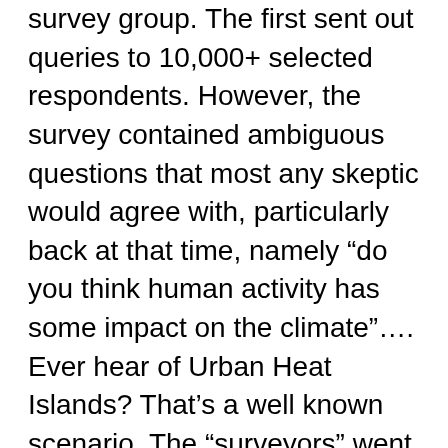survey group. The first sent out queries to 10,000+ selected respondents. However, the survey contained ambiguous questions that most any skeptic would agree with, particularly back at that time, namely “do you think human activity has some impact on the climate”…. Ever hear of Urban Heat Islands? That’s a well known scenario. The “surveyors” went on and FILTERED out most of the responses, arriving at 75 (or 77? ). Only two of those were classified as “skeptics”, thus the 97% response.
The other “study” took an automated look at climate science papers, and based on key words in the documents categorized as (1) part of the consensus” (2) not known or (3)